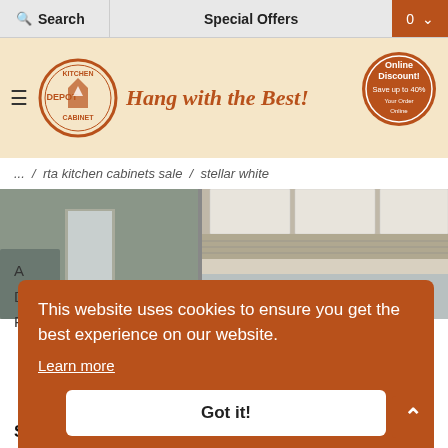Search | Special Offers | 0
[Figure (logo): Kitchen Depot Cabinet logo with circular badge, tagline 'Hang with the Best!', and 'Online Discount! Save up to 40% Your Order Online' badge]
... / rta kitchen cabinets sale / stellar white
[Figure (photo): Kitchen interior showing white cabinets, chandelier, stone backsplash, and countertops]
This website uses cookies to ensure you get the best experience on our website.
Learn more
Got it!
A
D
R
SPECIFICATIONS